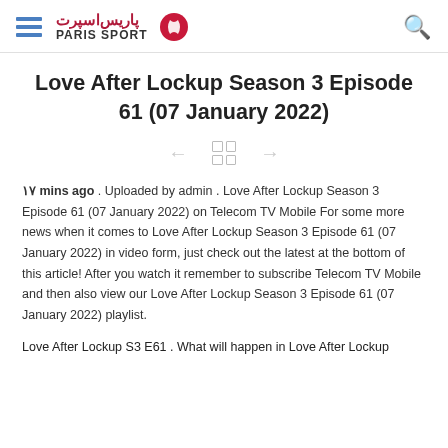Paris Sport
Love After Lockup Season 3 Episode 61 (07 January 2022)
[Figure (other): Navigation icons: left arrow, grid/menu icon, right arrow]
۱۷ mins ago . Uploaded by admin . Love After Lockup Season 3 Episode 61 (07 January 2022) on Telecom TV Mobile For some more news when it comes to Love After Lockup Season 3 Episode 61 (07 January 2022) in video form, just check out the latest at the bottom of this article! After you watch it remember to subscribe Telecom TV Mobile and then also view our Love After Lockup Season 3 Episode 61 (07 January 2022) playlist.
Love After Lockup S3 E61 . What will happen in Love After Lockup